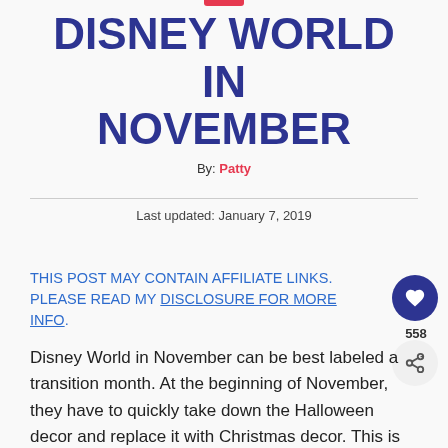DISNEY WORLD IN NOVEMBER
By: Patty
Last updated: January 7, 2019
THIS POST MAY CONTAIN AFFILIATE LINKS. PLEASE READ MY DISCLOSURE FOR MORE INFO.
Disney World in November can be best labeled a transition month. At the beginning of November, they have to quickly take down the Halloween decor and replace it with Christmas decor. This is really no easy feat since every park